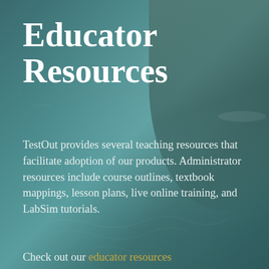[Figure (photo): Background image of an elderly bearded professor/educator in front of a chalkboard with mathematical chalk writing visible. The image has a teal/dark green tint overlay. The professor is visible on the right side of the image.]
Educator Resources
TestOut provides several teaching resources that facilitate adoption of our products. Administrator resources include course outlines, textbook mappings, lesson plans, live online training, and LabSim tutorials.
Check out our educator resources